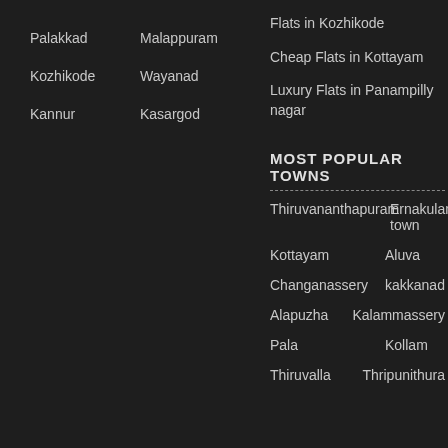Palakkad    Malappuram
Kozhikode    Wayanad
Kannur    Kasargod
Flats in Kozhikode
Cheap Flats in Kottayam
Luxury Flats in Panampilly nagar
MOST POPULAR TOWNS
Thiruvananthapuram    Ernakulam town
Kottayam    Aluva
Changanassery    kakkanad
Alapuzha    Kalammassery
Pala    Kollam
Thiruvalla    Thripunithura